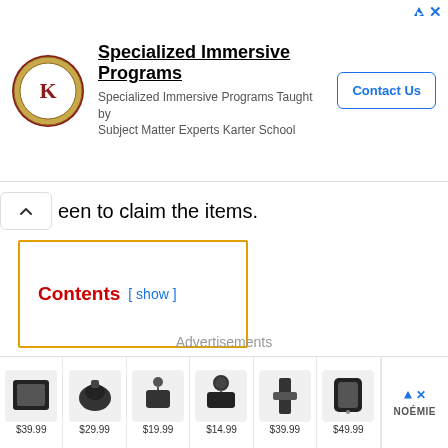[Figure (infographic): Advertisement banner for Karter School with logo, title 'Specialized Immersive Programs', subtitle 'Specialized Immersive Programs Taught by Subject Matter Experts Karter School', and a 'Contact Us' button]
een to claim the items.
Contents [ show ]
Free Fire MAX OB34 update APK
Advertisements
[Figure (infographic): Product advertisement strip showing 6 products priced at $39.99, $29.99, $19.99, $14.99, $39.99, $49.99, and Noémie brand label]